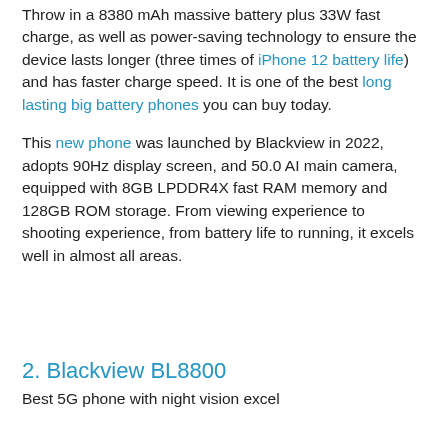Throw in a 8380 mAh massive battery plus 33W fast charge, as well as power-saving technology to ensure the device lasts longer (three times of iPhone 12 battery life) and has faster charge speed. It is one of the best long lasting big battery phones you can buy today.
This new phone was launched by Blackview in 2022, adopts 90Hz display screen, and 50.0 AI main camera, equipped with 8GB LPDDR4X fast RAM memory and 128GB ROM storage. From viewing experience to shooting experience, from battery life to running, it excels well in almost all areas.
2. Blackview BL8800
Best 5G phone with night vision excel